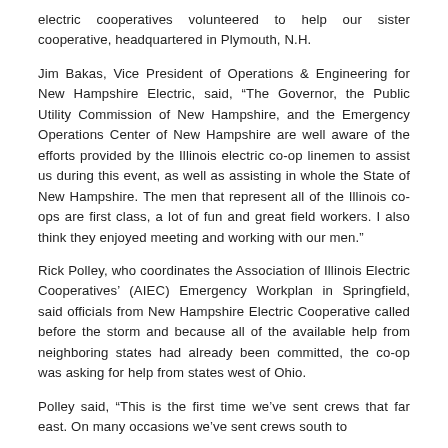electric cooperatives volunteered to help our sister cooperative, headquartered in Plymouth, N.H.
Jim Bakas, Vice President of Operations & Engineering for New Hampshire Electric, said, “The Governor, the Public Utility Commission of New Hampshire, and the Emergency Operations Center of New Hampshire are well aware of the efforts provided by the Illinois electric co-op linemen to assist us during this event, as well as assisting in whole the State of New Hampshire. The men that represent all of the Illinois co-ops are first class, a lot of fun and great field workers. I also think they enjoyed meeting and working with our men.”
Rick Polley, who coordinates the Association of Illinois Electric Cooperatives’ (AIEC) Emergency Workplan in Springfield, said officials from New Hampshire Electric Cooperative called before the storm and because all of the available help from neighboring states had already been committed, the co-op was asking for help from states west of Ohio.
Polley said, “This is the first time we’ve sent crews that far east. On many occasions we’ve sent crews south to